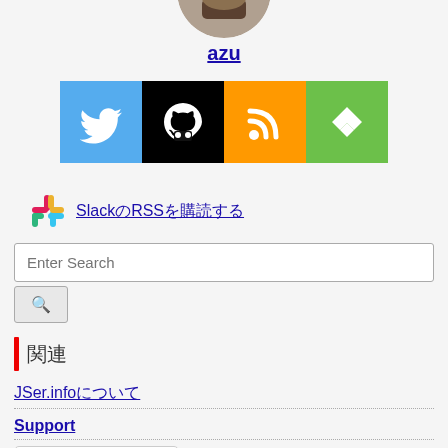[Figure (photo): Profile avatar photo cropped at top, circular]
azu
[Figure (infographic): Four social media icon buttons: Twitter (blue), GitHub (black), RSS (orange), Feedly (green)]
Slack RSS (link)
Enter Search (search input box with search button)
関連
JSer.info について
Support
[Figure (other): GitHub Sponsors button]